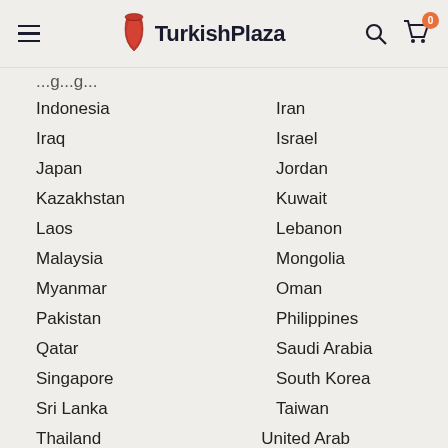TurkishPlaza
Indonesia | Iran
Iraq | Israel
Japan | Jordan
Kazakhstan | Kuwait
Laos | Lebanon
Malaysia | Mongolia
Myanmar | Oman
Pakistan | Philippines
Qatar | Saudi Arabia
Singapore | South Korea
Sri Lanka | Taiwan
Thailand | United Arab Emirates
Uzbekistan | Vietnam
South America: